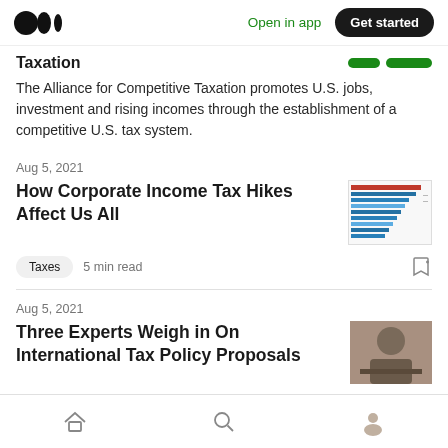Open in app | Get started
Taxation
The Alliance for Competitive Taxation promotes U.S. jobs, investment and rising incomes through the establishment of a competitive U.S. tax system.
Aug 5, 2021
How Corporate Income Tax Hikes Affect Us All
[Figure (bar-chart): Horizontal bar chart thumbnail showing corporate income tax data with multiple colored bars]
Taxes  5 min read
Aug 5, 2021
Three Experts Weigh in On International Tax Policy Proposals
[Figure (photo): Photo thumbnail showing a person working, related to international tax policy]
Home | Search | Profile